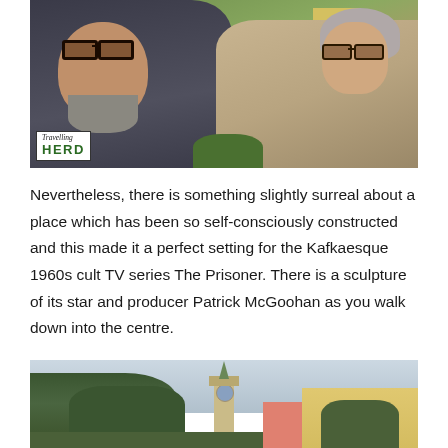[Figure (photo): Selfie of a bearded man in sunglasses and a woman with grey hair in sunglasses, taken at Portmeirion village with stone walls, colourful buildings, and greenery visible in the background. A 'Travelling Herd' logo watermark is in the lower left corner.]
Nevertheless, there is something slightly surreal about a place which has been so self-consciously constructed and this made it a perfect setting for the Kafkaesque 1960s cult TV series The Prisoner. There is a sculpture of its star and producer Patrick McGoohan as you walk down into the centre.
[Figure (photo): View of Portmeirion village from below, showing a tall bell tower or campanile against a cloudy sky, with dense green trees on the left and a colourful yellow and pink building on the right.]